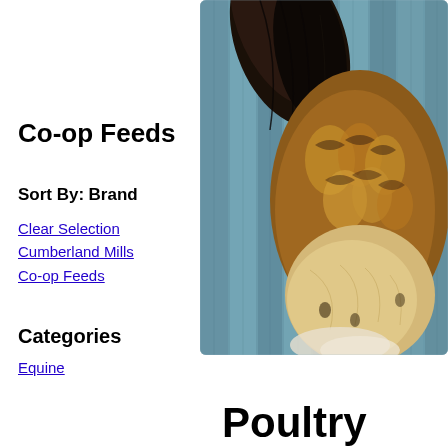Co-op Feeds
Sort By:
Brand
Clear Selection
Cumberland Mills
Co-op Feeds
[Figure (photo): Close-up photo of a chicken/rooster showing feathers against a blue wooden fence background]
Categories
Equine
Poultry